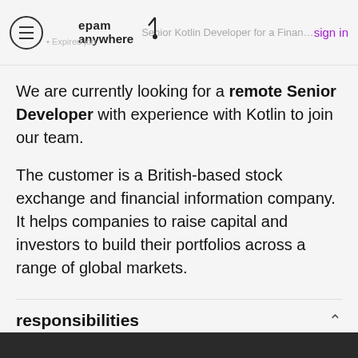Senior Kotlin Developer for a Financial Informat... | epam anywhere | sign in | Expired job
We are currently looking for a remote Senior Developer with experience with Kotlin to join our team.
The customer is a British-based stock exchange and financial information company. It helps companies to raise capital and investors to build their portfolios across a range of global markets.
responsibilities
Designing and developing modern, secure, and feature-rich android applications using Kotlin/...